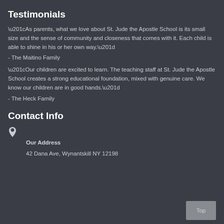Testimonials
“As parents, what we love about St. Jude the Apostle School is its small size and the sense of community and closeness that comes with it. Each child is able to shine in his or her own way.”
- The Maitino Family
“Our children are excited to learn. The teaching staff at St. Jude the Apostle School creates a strong educational foundation, mixed with genuine care. We know our children are in good hands.”
- The Heck Family
Contact Info
Our Address
42 Dana Ave, Wynantskill NY 12198